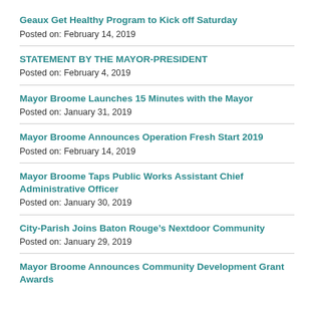Geaux Get Healthy Program to Kick off Saturday
Posted on: February 14, 2019
STATEMENT BY THE MAYOR-PRESIDENT
Posted on: February 4, 2019
Mayor Broome Launches 15 Minutes with the Mayor
Posted on: January 31, 2019
Mayor Broome Announces Operation Fresh Start 2019
Posted on: February 14, 2019
Mayor Broome Taps Public Works Assistant Chief Administrative Officer
Posted on: January 30, 2019
City-Parish Joins Baton Rouge’s Nextdoor Community
Posted on: January 29, 2019
Mayor Broome Announces Community Development Grant Awards